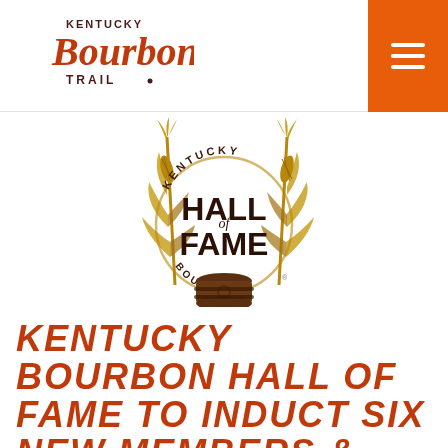Kentucky Bourbon Trail
[Figure (logo): Kentucky Bourbon Hall of Fame emblem with corn stalks and barrel]
KENTUCKY BOURBON HALL OF FAME TO INDUCT SIX NEW MEMBERS & BESTOW LIFETIME